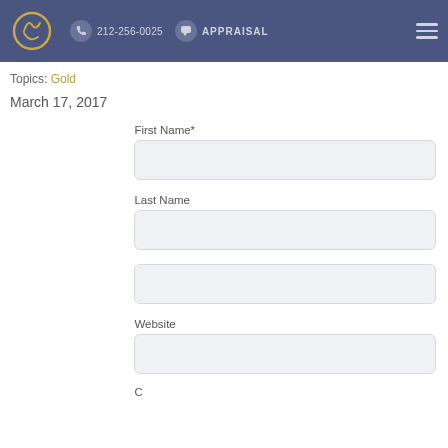212-256-0025  APPRAISAL
Topics: Gold
March 17, 2017
First Name*
Last Name
Website
Comment